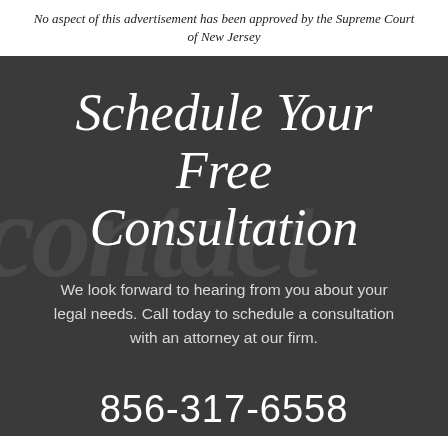No aspect of this advertisement has been approved by the Supreme Court of New Jersey
Schedule Your Free Consultation
We look forward to hearing from you about your legal needs. Call today to schedule a consultation with an attorney at our firm.
856-317-6558